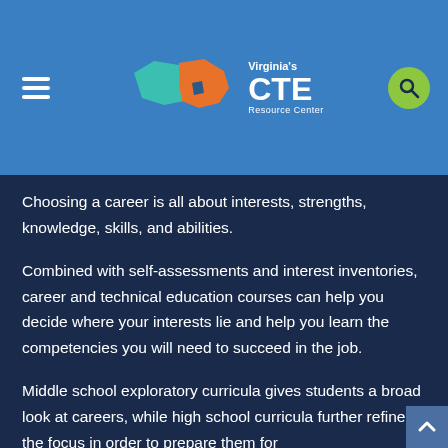[Figure (logo): Virginia's CTE Resource Center logo with Virginia state map in teal and orange, and a hamburger menu icon on the left, search button on the right]
Choosing a career is all about interests, strengths, knowledge, skills, and abilities.
Combined with self-assessments and interest inventories, career and technical education courses can help you decide where your interests lie and help you learn the competencies you will need to succeed in the job.
Middle school exploratory curricula gives students a broad look at careers, while high school curricula further refines the focus in order to prepare them for